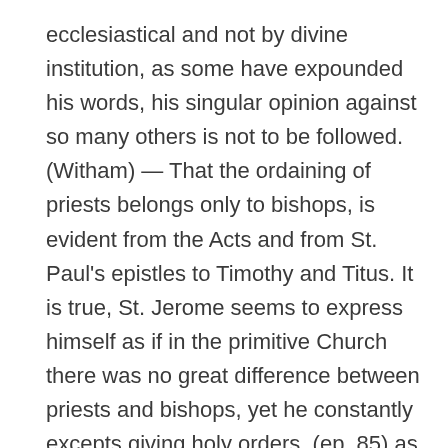ecclesiastical and not by divine institution, as some have expounded his words, his singular opinion against so many others is not to be followed. (Witham) — That the ordaining of priests belongs only to bishops, is evident from the Acts and from St. Paul's epistles to Timothy and Titus. It is true, St. Jerome seems to express himself as if in the primitive Church there was no great difference between priests and bishops, yet he constantly excepts giving holy orders, (ep. 85) as also confirming the baptized, by giving them the Holy Ghost by imposition of hands and holy chrism; (dial. contra Lucif. chap. iv.) which pre-eminence he attributes to bishops only. To